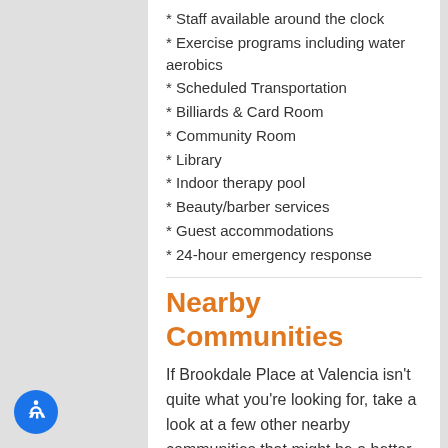* Staff available around the clock
* Exercise programs including water aerobics
* Scheduled Transportation
* Billiards & Card Room
* Community Room
* Library
* Indoor therapy pool
* Beauty/barber services
* Guest accommodations
* 24-hour emergency response
Nearby Communities
If Brookdale Place at Valencia isn't quite what you're looking for, take a look at a few other nearby communities that might be a better match.